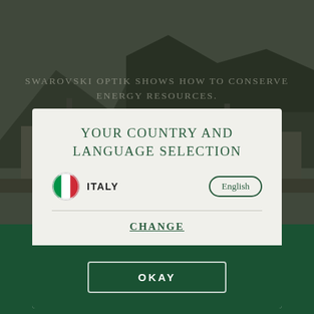[Figure (photo): Dark background photo of an industrial/factory building with mountains behind, overlaid with dark tint. Text 'SWAROVSKI OPTIK SHOWS HOW TO CONSERVE ENERGY RESOURCES.' visible in background.]
YOUR COUNTRY AND LANGUAGE SELECTION
[Figure (other): Italian flag circle icon next to bold text 'ITALY', and a pill-shaped button labeled 'English' on the right.]
CHANGE
OKAY